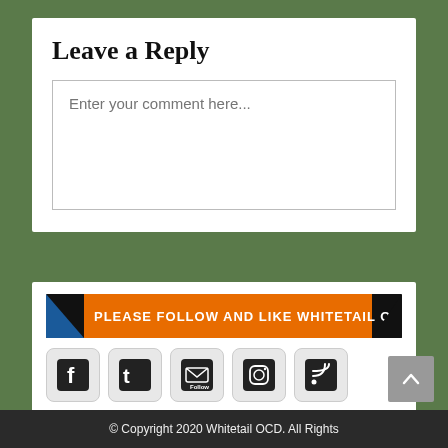Leave a Reply
Enter your comment here...
[Figure (infographic): Social media follow banner with text 'PLEASE FOLLOW AND LIKE WHITETAIL OCD' and social icons for Facebook, Twitter, Email/Follow, Instagram, RSS]
© Copyright 2020 Whitetail OCD. All Rights